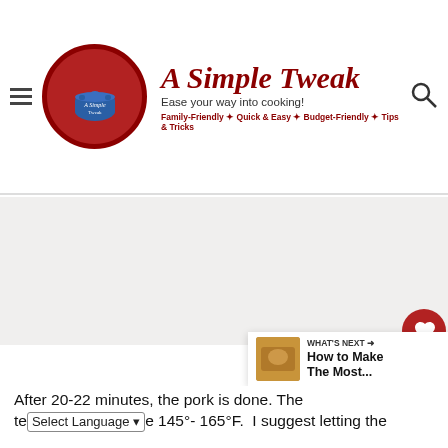A Simple Tweak — Ease your way into cooking! — Family-Friendly • Quick & Easy • Budget-Friendly • Tips & Tricks
[Figure (photo): Large food/cooking photo placeholder area, light gray background]
After 20-22 minutes, the pork is done. The temperature should be 145°- 165°F.  I suggest letting the
WHAT'S NEXT → How to Make The Most...